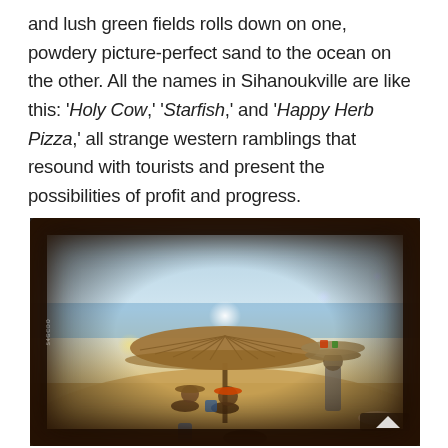and lush green fields rolls down on one, powdery picture-perfect sand to the ocean on the other. All the names in Sihanoukville are like this: 'Holy Cow,' 'Starfish,' and 'Happy Herb Pizza,' all strange western ramblings that resound with tourists and present the possibilities of profit and progress.
[Figure (photo): A vintage-style photograph of a beach scene in Sihanoukville. A large thatched umbrella shades several people sitting on the sand beneath it. A person wearing a wide-brimmed hat walks toward the group carrying a tray of food/drinks balanced on their head. The image has a heavy dark vignette border giving it an aged, polaroid-like appearance. Bokeh light orbs are visible in the background along with the ocean.]